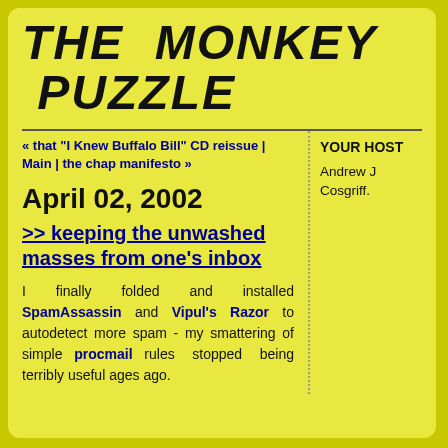THE MONKEY PUZZLE
« that "I Knew Buffalo Bill" CD reissue | Main | the chap manifesto »
YOUR HOST
Andrew J Cosgriff.
April 02, 2002
>> keeping the unwashed masses from one's inbox
I finally folded and installed SpamAssassin and Vipul's Razor to autodetect more spam - my smattering of simple procmail rules stopped being terribly useful ages ago.